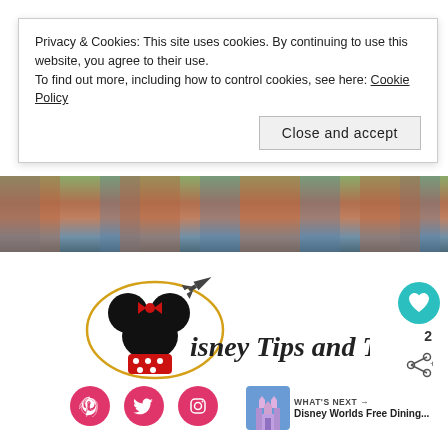Privacy & Cookies: This site uses cookies. By continuing to use this website, you agree to their use.
To find out more, including how to control cookies, see here: Cookie Policy
Close and accept
[Figure (photo): Header banner photo showing a waterfront area with red roofed structures and reflections in water, likely a Disney park area]
[Figure (logo): Disney Tips and Trips blog logo featuring a Minnie Mouse head with red bow and polka dot dress, with an airplane motif and the text 'Disney Tips and Trips' in Disney-style font]
[Figure (infographic): Heart/like button (teal circle), share button, and number 2]
[Figure (infographic): Social media icons: Pinterest, Twitter, Instagram in pink circles]
WHAT'S NEXT → Disney Worlds Free Dining...